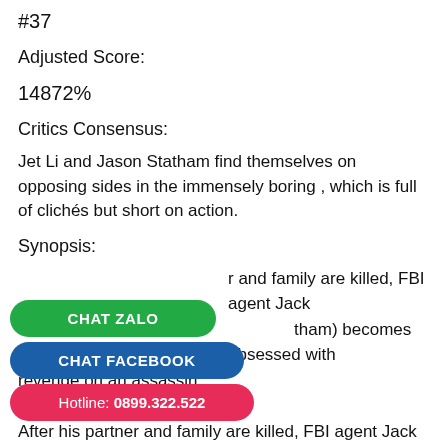#37
Adjusted Score:
14872%
Critics Consensus:
Jet Li and Jason Statham find themselves on opposing sides in the immensely boring , which is full of clichés but short on action.
Synopsis:
[Figure (other): Three overlay chat/contact buttons: CHAT ZALO (green), CHAT FACEBOOK (dark blue), Hotline: 0899.322.522 (red/pink)]
r and family are killed, FBI agent Jack
(Statham) becomes obsessed with
revenge on an assassin...
After his partner and family are killed, FBI agent Jack